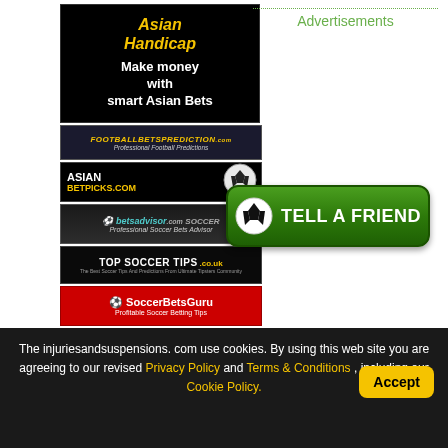[Figure (illustration): Asian Handicap banner - black background with yellow italic bold text 'Asian Handicap' and white text 'Make money with smart Asian Bets']
[Figure (illustration): FOOTBALLBETSPREDICTION.com - Professional Football Predictions banner]
[Figure (illustration): ASIAN BETPICKS.COM banner with soccer ball]
[Figure (illustration): Soccer betsadvisor.com - Professional Soccer Bets Advisor banner]
[Figure (illustration): TOP SOCCER TIPS .co.uk - The Best Soccer Tips And Predictions From Ultimate Tipsters Community]
[Figure (illustration): SoccerBetsGuru - Profitable Soccer Betting Tips banner with red background]
Advertisements
[Figure (illustration): Green Tell A Friend button with soccer ball icon]
The injuriesandsuspensions. com use cookies. By using this web site you are agreeing to our revised Privacy Policy and Terms & Conditions , including our Cookie Policy.